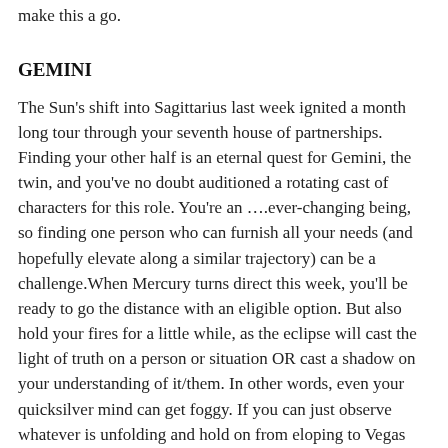make this a go.
GEMINI
The Sun's shift into Sagittarius last week ignited a month long tour through your seventh house of partnerships. Finding your other half is an eternal quest for Gemini, the twin, and you've no doubt auditioned a rotating cast of characters for this role. You're an ….ever-changing being, so finding one person who can furnish all your needs (and hopefully elevate along a similar trajectory) can be a challenge.When Mercury turns direct this week, you'll be ready to go the distance with an eligible option. But also hold your fires for a little while, as the eclipse will cast the light of truth on a person or situation OR cast a shadow on your understanding of it/them. In other words, even your quicksilver mind can get foggy. If you can just observe whatever is unfolding and hold on from eloping to Vegas instantly, you will be